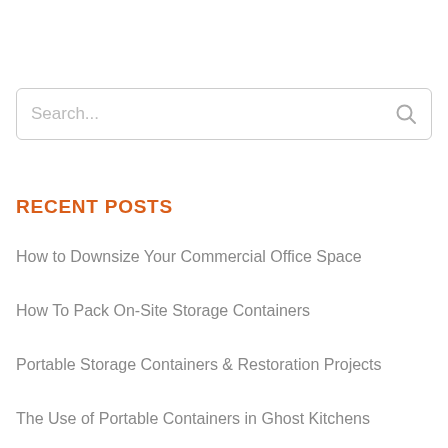[Figure (other): Search input box with placeholder text 'Search...' and a magnifying glass icon]
RECENT POSTS
How to Downsize Your Commercial Office Space
How To Pack On-Site Storage Containers
Portable Storage Containers & Restoration Projects
The Use of Portable Containers in Ghost Kitchens